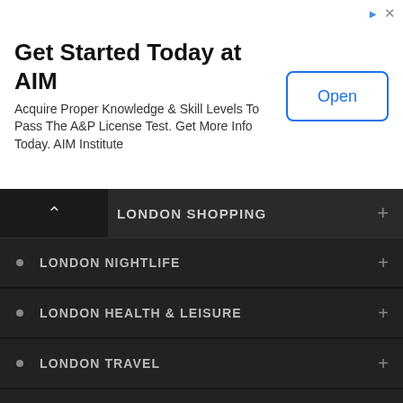[Figure (screenshot): Advertisement banner for AIM Institute with title 'Get Started Today at AIM', body text, and Open button]
Get Started Today at AIM
Acquire Proper Knowledge & Skill Levels To Pass The A&P License Test. Get More Info Today. AIM Institute
LONDON SHOPPING
LONDON NIGHTLIFE
LONDON HEALTH & LEISURE
LONDON TRAVEL
LONDON VISITOR GUIDE
RECOMMENDED READING